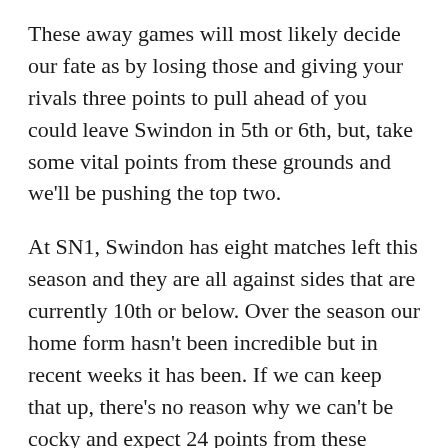These away games will most likely decide our fate as by losing those and giving your rivals three points to pull ahead of you could leave Swindon in 5th or 6th, but, take some vital points from these grounds and we'll be pushing the top two.
At SN1, Swindon has eight matches left this season and they are all against sides that are currently 10th or below. Over the season our home form hasn't been incredible but in recent weeks it has been. If we can keep that up, there's no reason why we can't be cocky and expect 24 points from these games.
The base to the rest of the season has to be built at The County Ground. Drop any points at home and they'll need to be made up on our away trips where just a point may be seen as invaluable. The fixtures on paper may be against us with several tough away games but